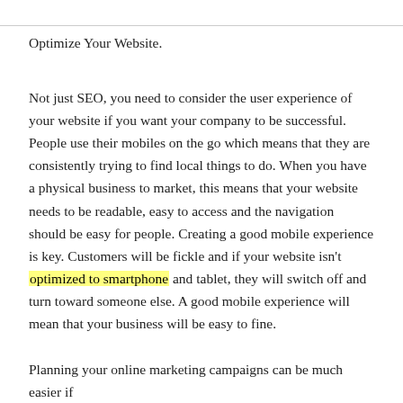Optimize Your Website.
Not just SEO, you need to consider the user experience of your website if you want your company to be successful. People use their mobiles on the go which means that they are consistently trying to find local things to do. When you have a physical business to market, this means that your website needs to be readable, easy to access and the navigation should be easy for people. Creating a good mobile experience is key. Customers will be fickle and if your website isn't optimized to smartphone and tablet, they will switch off and turn toward someone else. A good mobile experience will mean that your business will be easy to fine.
Planning your online marketing campaigns can be much easier if